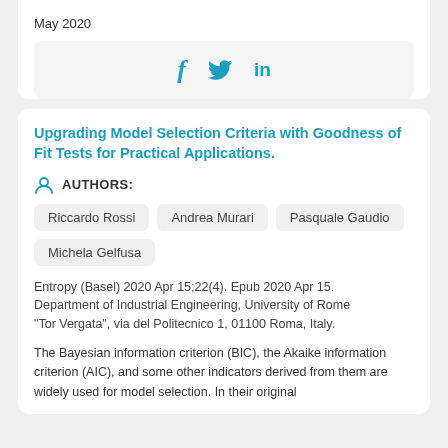May 2020
[Figure (other): Social media share icons: Facebook (f), Twitter (bird), LinkedIn (in) in blue on light gray background]
Upgrading Model Selection Criteria with Goodness of Fit Tests for Practical Applications.
AUTHORS:
Riccardo Rossi
Andrea Murari
Pasquale Gaudio
Michela Gelfusa
Entropy (Basel) 2020 Apr 15;22(4). Epub 2020 Apr 15. Department of Industrial Engineering, University of Rome "Tor Vergata", via del Politecnico 1, 01100 Roma, Italy.
The Bayesian information criterion (BIC), the Akaike information criterion (AIC), and some other indicators derived from them are widely used for model selection. In their original